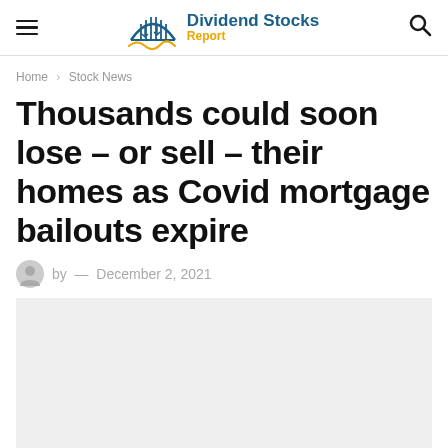Dividend Stocks Report
Home > Stock News
Thousands could soon lose – or sell – their homes as Covid mortgage bailouts expire
by — December 2, 2021
[Figure (photo): Article image placeholder (light gray rectangle)]